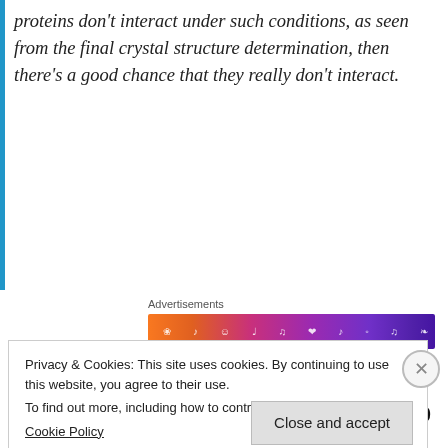proteins don't interact under such conditions, as seen from the final crystal structure determination, then there's a good chance that they really don't interact.
[Figure (other): Advertisement banner with colorful gradient (orange to purple) containing small decorative icons and symbols]
The database currently provides a total of 1892 non-interacting proteins and 979 predicted
Privacy & Cookies: This site uses cookies. By continuing to use this website, you agree to their use.
To find out more, including how to control cookies, see here:
Cookie Policy